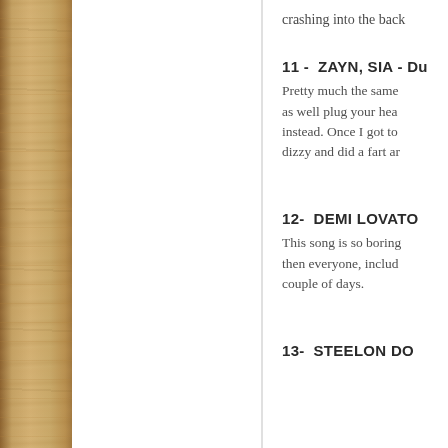[Figure (photo): Wood panel texture on the left side of the page]
crashing into the back
11 -  ZAYN, SIA - Du
Pretty much the same as well plug your head instead. Once I got to dizzy and did a fart ar
12-  DEMI LOVATO
This song is so boring then everyone, includ couple of days.
13-  STEELON DO